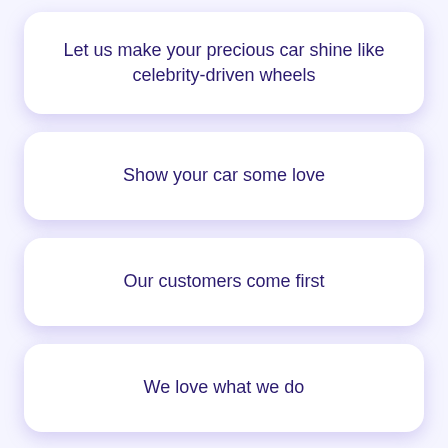Let us make your precious car shine like celebrity-driven wheels
Show your car some love
Our customers come first
We love what we do